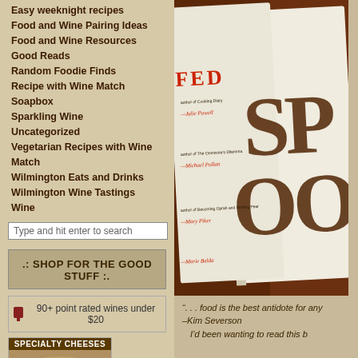Easy weeknight recipes
Food and Wine Pairing Ideas
Food and Wine Resources
Good Reads
Random Foodie Finds
Recipe with Wine Match
Soapbox
Sparkling Wine
Uncategorized
Vegetarian Recipes with Wine Match
Wilmington Eats and Drinks
Wilmington Wine Tastings
Wine
Type and hit enter to search
.: SHOP FOR THE GOOD STUFF :.
90+ point rated wines under $20
[Figure (photo): Photo of an open book showing the word SPOON in large letters on the right page and FED on the left page, with red italic quotes from food writers including Michael Pollan, Julie Powell, Mary Piker, and Marie Balda]
SPECIALTY CHEESES
“. . . food is the best antidote for any
–Kim Severson
I’d been wanting to read this b